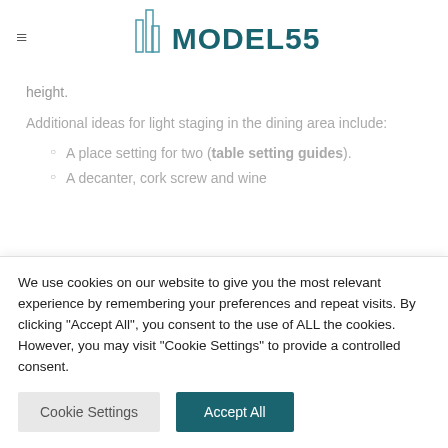MODEL55
height.
Additional ideas for light staging in the dining area include:
A place setting for two (table setting guides).
A decanter, cork screw and wine
We use cookies on our website to give you the most relevant experience by remembering your preferences and repeat visits. By clicking "Accept All", you consent to the use of ALL the cookies. However, you may visit "Cookie Settings" to provide a controlled consent.